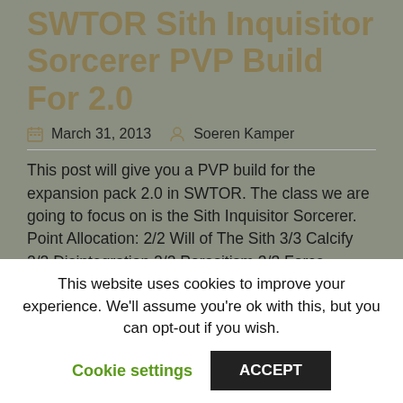SWTOR Sith Inquisitor Sorcerer PVP Build For 2.0
March 31, 2013   Soeren Kamper
This post will give you a PVP build for the expansion pack 2.0 in SWTOR. The class we are going to focus on is the Sith Inquisitor Sorcerer. Point Allocation: 2/2 Will of The Sith 3/3 Calcify 2/2 Disintegration 2/2 Parasitism 3/3 Force Horrors 1/1 Death Field 3/3 Sith Efficacy 1/1 Madness 2/2 Corrupted Flesh 1/1 Wrath 1/1 Deathmark 2/2 Haunted Dreams 2/2 Lingering Nightmares 2/2 Lightning Burst 3/3 Creeping Death 2/2 Devour 2/2 Focal Lightning 2/2 Shapeless Spirit 1/1 Creeping Terror 3/3 Seeping Darkness 2/2 Force Weaver 2/2 Reserves 2/3 Electric Induction You
This website uses cookies to improve your experience. We'll assume you're ok with this, but you can opt-out if you wish.
Cookie settings   ACCEPT